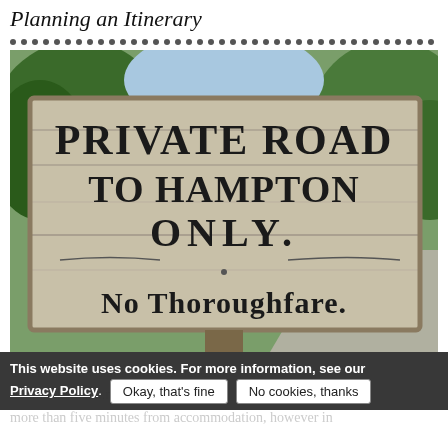Planning an Itinerary
[Figure (photo): A wooden road sign reading 'PRIVATE ROAD TO HAMPTON ONLY. No Thoroughfare.' mounted on a post surrounded by trees and a road in the background.]
This website uses cookies. For more information, see our Privacy Policy. Okay, that's fine / No cookies, thanks
Given the National Park's vast landscape, Sout...la...h...nt...er be more than five minutes from accommodation, however in